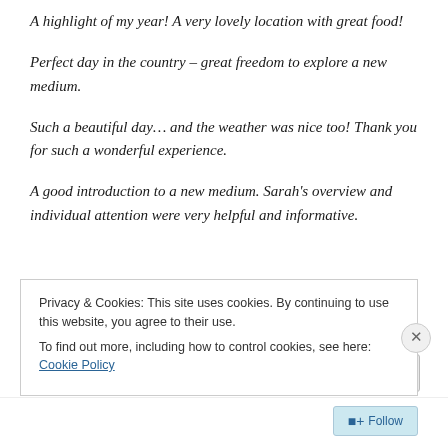A highlight of my year! A very lovely location with great food!
Perfect day in the country – great freedom to explore a new medium.
Such a beautiful day… and the weather was nice too! Thank you for such a wonderful experience.
A good introduction to a new medium. Sarah's overview and individual attention were very helpful and informative.
Privacy & Cookies: This site uses cookies. By continuing to use this website, you agree to their use. To find out more, including how to control cookies, see here: Cookie Policy
Close and accept